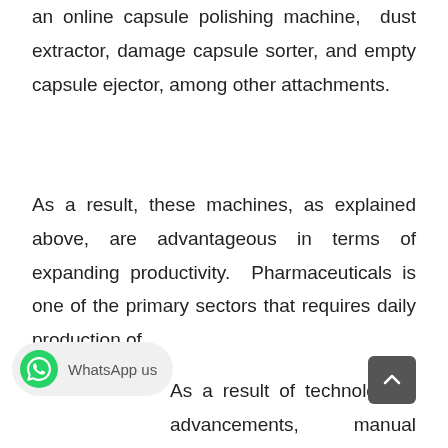an online capsule polishing machine, dust extractor, damage capsule sorter, and empty capsule ejector, among other attachments.
As a result, these machines, as explained above, are advantageous in terms of expanding productivity. Pharmaceuticals is one of the primary sectors that requires daily production of
As a result of technological advancements, manual operation has been replaced by machine production...